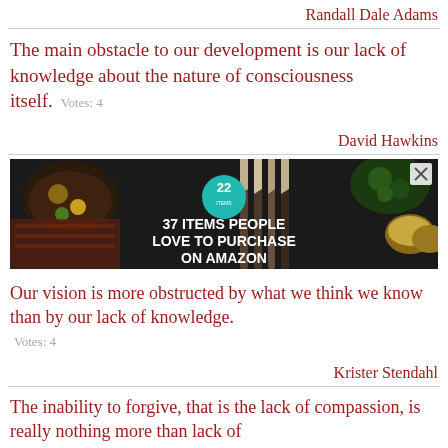Randall Dale Adams
The main obstacle to our development is our lack of knowledge about the nature of consciousness itself. Votes: 4
David Hawkins
[Figure (photo): Advertisement banner showing kitchen knives and food items with text '37 ITEMS PEOPLE LOVE TO PURCHASE ON AMAZON' and a teal circle badge with '22']
Our vision is more obstructed by what we think we know than by our lack of knowledge.
Votes: 4
Krister Stendahl
The inability to forgive, that is the lack of compassion, is really nothing more than lack of